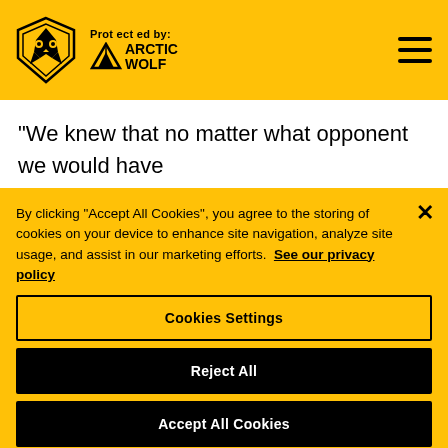Protected by: ARCTIC WOLF
"We knew that no matter what opponent we would have tough competition and a tough job to do.
By clicking "Accept All Cookies", you agree to the storing of cookies on your device to enhance site navigation, analyze site usage, and assist in our marketing efforts. See our privacy policy
Cookies Settings
Reject All
Accept All Cookies